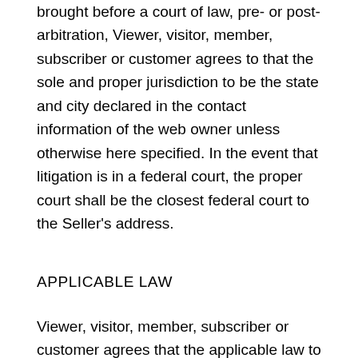brought before a court of law, pre- or post-arbitration, Viewer, visitor, member, subscriber or customer agrees to that the sole and proper jurisdiction to be the state and city declared in the contact information of the web owner unless otherwise here specified. In the event that litigation is in a federal court, the proper court shall be the closest federal court to the Seller's address.
APPLICABLE LAW
Viewer, visitor, member, subscriber or customer agrees that the applicable law to be applied shall, in all cases, be that of the state of the Seller.